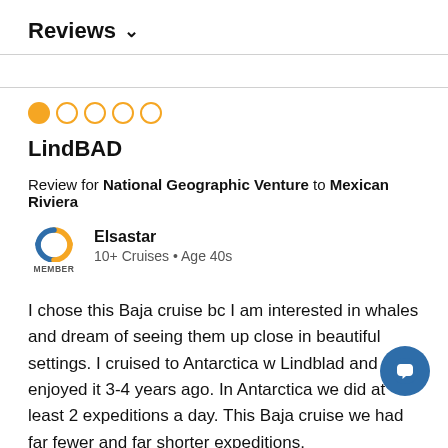Reviews ∨
[Figure (other): Star rating: 1 out of 5 filled orange circles]
LindBAD
Review for National Geographic Venture to Mexican Riviera
[Figure (logo): Cruise Critic member logo with orange and blue swoosh C symbol and MEMBER text below]
Elsastar
10+ Cruises • Age 40s
I chose this Baja cruise bc I am interested in whales and dream of seeing them up close in beautiful settings. I cruised to Antarctica w Lindblad and enjoyed it 3-4 years ago. In Antarctica we did at least 2 expeditions a day. This Baja cruise we had far fewer and far shorter expeditions.